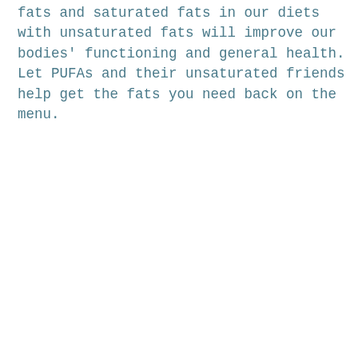fats and saturated fats in our diets with unsaturated fats will improve our bodies' functioning and general health. Let PUFAs and their unsaturated friends help get the fats you need back on the menu.